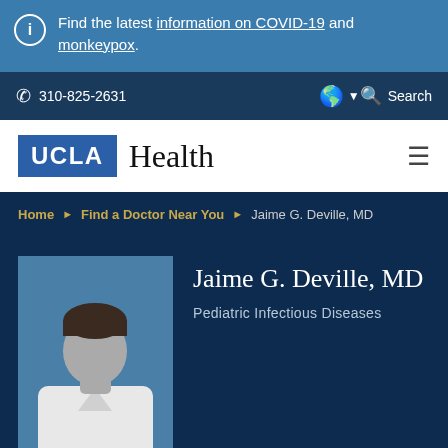Find the latest information on COVID-19 and monkeypox.
310-825-2631   Search
[Figure (logo): UCLA Health logo — blue UCLA box next to serif Health text]
Home ▶ Find a Doctor Near You ▶ Jaime G. Deville, MD
[Figure (photo): Generic male doctor silhouette placeholder photo with blue-grey background]
Jaime G. Deville, MD
Pediatric Infectious Diseases